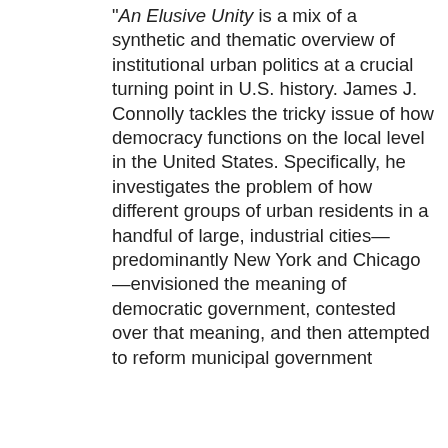"An Elusive Unity is a mix of a synthetic and thematic overview of institutional urban politics at a crucial turning point in U.S. history. James J. Connolly tackles the tricky issue of how democracy functions on the local level in the United States. Specifically, he investigates the problem of how different groups of urban residents in a handful of large, industrial cities—predominantly New York and Chicago—envisioned the meaning of democratic government, contested over that meaning, and then attempted to reform municipal government to suit their specific vision. Drawing together a significant number of the writings on this subject and contributing his own primary research, Connolly explains the development of what
[Figure (photo): Book cover of 'An Elusive Unity: Urban Democracy and Machine Politics in Industrializing America'. Yellow background with bold serif title text, black subtitle band, and a black-and-white historical photograph of a crowd of people.]